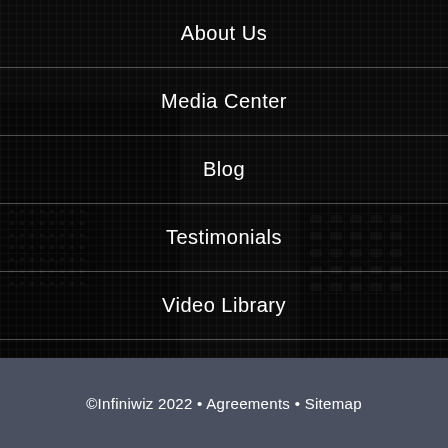[Figure (photo): Dark city buildings background image with grid-like window patterns]
About Us
Media Center
Blog
Testimonials
Video Library
©Infiniwiz 2022 • Agreements • Sitemap